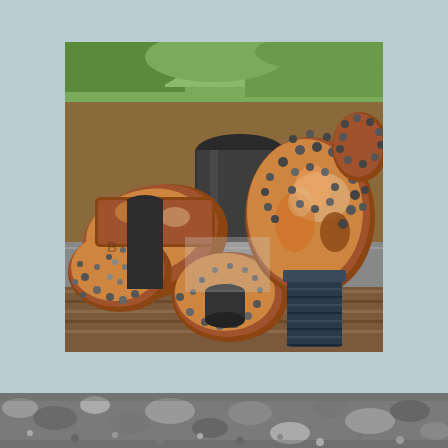[Figure (photo): Close-up photograph of rusty drill bits (tricone/roller cone drill bits) used in oil/gas or mining drilling operations. The heavily corroded bits show three-cone rotary drill heads with tungsten carbide inserts/buttons. Several bits are shown resting on wooden planks with metal pipes visible in the background and green foliage at the top. One bit on the right shows a threaded pin connection (API thread) in dark metal at the bottom.]
[Figure (photo): Partial view of a second photograph at the bottom of the page showing textured/rocky surface, possibly stone or gravel ground, partially cropped.]